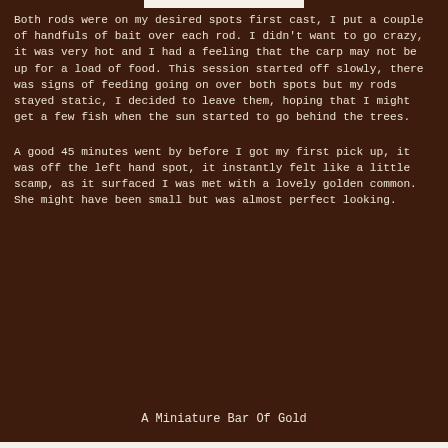Both rods were on my desired spots first cast, I put a couple of handfuls of bait over each rod. I didn't want to go crazy, it was very hot and I had a feeling that the carp may not be up for a load of food. This session started off slowly, there was signs of feeding going on over both spots but my rods stayed static, I decided to leave them, hoping that I might get a few fish when the sun started to go behind the trees.
A good 45 minutes went by before I got my first pick up, it was off the left hand spot, it instantly felt like a little scamp, as it surfaced I was met with a lovely golden common. She might have been small but was almost perfect looking.
A Miniature Bar Of Gold